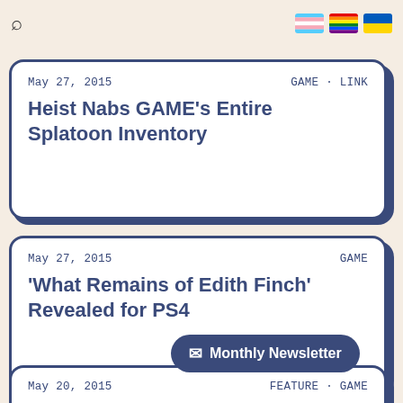Search | Trans flag | Pride flag | Ukraine flag
May 27, 2015 | GAME · LINK
Heist Nabs GAME's Entire Splatoon Inventory
May 27, 2015 | GAME
'What Remains of Edith Finch' Revealed for PS4
Monthly Newsletter
May 20, 2015 | FEATURE · GAME
Video Games You Should B...